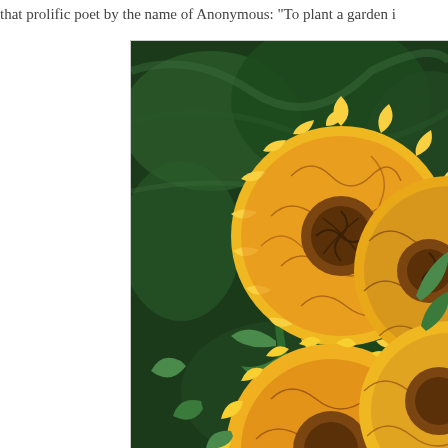that prolific poet by the name of Anonymous: "To plant a garden i
[Figure (illustration): A colorful illustration of marigold flowers with yellow and orange petals featuring swirling dark line patterns, set against a dark green leafy background. The flowers have densely textured, ruffled petals with brown and red curl details.]